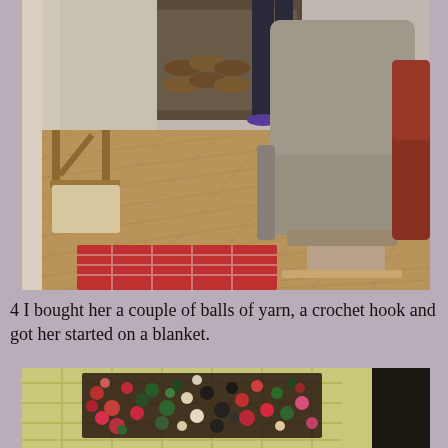[Figure (photo): Indoor living room scene showing a wooden chair on the left, a gray recliner armchair in the center-right, a red plaid footstool/rug in the foreground, a person standing in the background wearing dark pants and purple slippers, brown parquet/wood flooring, and a red leather chair partially visible on the right edge.]
4 I bought her a couple of balls of yarn, a crochet hook and got her started on a blanket.
[Figure (photo): Close-up photo of a colorful crocheted blanket with multicolored yarn (red, black, green, pink, cream) lying on top of a plaid yellow-green wool blanket or throw.]